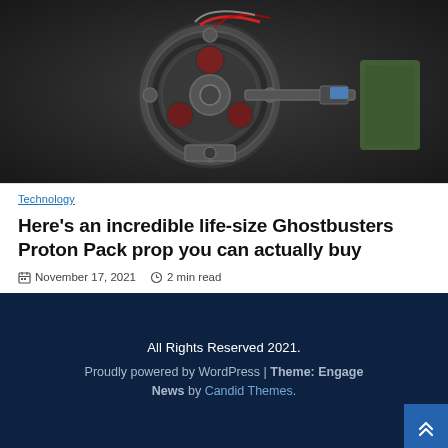[Figure (photo): Close-up photograph of a Ghostbusters Proton Pack prop, showing mechanical details including circular components, wires, and metal parts against a dark background.]
Technology
Here's an incredible life-size Ghostbusters Proton Pack prop you can actually buy
November 17, 2021  2 min read
All Rights Reserved 2021. Proudly powered by WordPress | Theme: Engage News by Candid Themes.